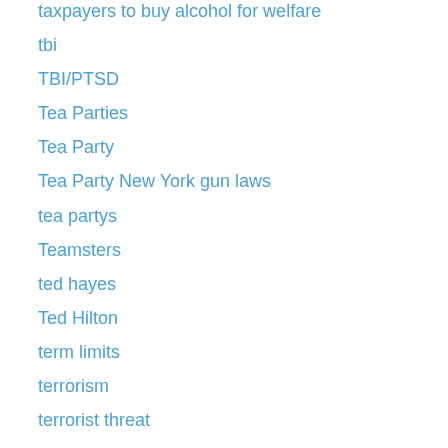taxpayers to buy alcohol for welfare
tbi
TBI/PTSD
Tea Parties
Tea Party
Tea Party New York gun laws
tea partys
Teamsters
ted hayes
Ted Hilton
term limits
terrorism
terrorist threat
terry
Texas ranch takover
texas ranches
The Bat
Tijuana
Tijuana murders
tijuana picks